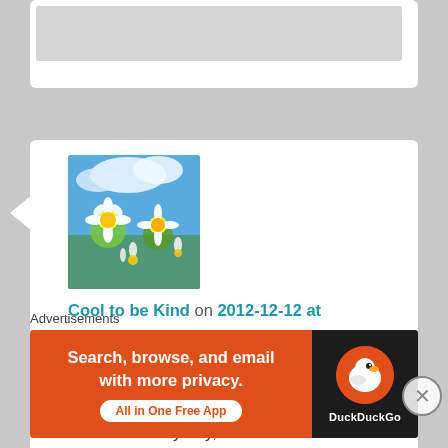[Figure (screenshot): Partially visible white comment card at top]
[Figure (photo): Avatar image showing daisies/white flowers against blue sky]
Cool to be Kind on 2012-12-12 at 21:39 said:
LOVED this. I just started making a conscious choice to do random acts of kindness every day, and would love to link to this for inspiration for others (if that is okay with you… not that anyone is reading mine yet)! You have a
Advertisements
[Figure (screenshot): DuckDuckGo advertisement banner: Search, browse, and email with more privacy. All in One Free App]